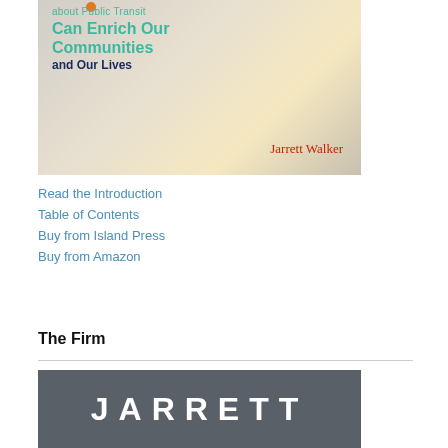[Figure (illustration): Book cover showing transit book by Jarrett Walker with text: 'about Public Transit Can Enrich Our Communities and Our Lives' and author name 'Jarrett Walker' on a blurred motion background]
Read the Introduction
Table of Contents
Buy from Island Press
Buy from Amazon
The Firm
[Figure (logo): Dark gray banner with white bold text 'JARRETT' in large spaced letters]